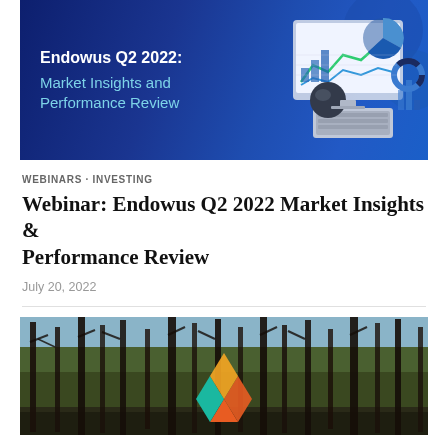[Figure (illustration): Dark blue banner with 'Endowus Q2 2022: Market Insights and Performance Review' text on left and 3D graphic of laptop/monitor with financial charts on right]
WEBINARS · INVESTING
Webinar: Endowus Q2 2022 Market Insights & Performance Review
July 20, 2022
[Figure (photo): Forest scene with bare trees and colorful geometric logo overlay at the bottom center]